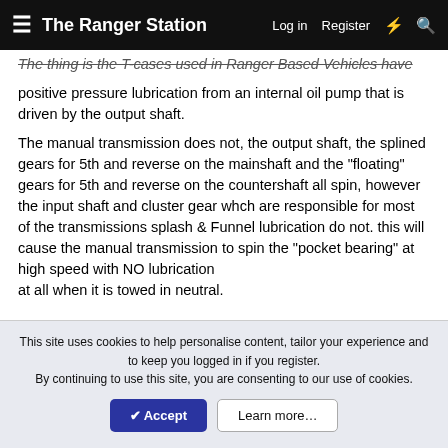The Ranger Station — Log in   Register
The thing is the T-cases used in Ranger Based Vehicles have positive pressure lubrication from an internal oil pump that is driven by the output shaft.
The manual transmission does not, the output shaft, the splined gears for 5th and reverse on the mainshaft and the "floating" gears for 5th and reverse on the countershaft all spin, however the input shaft and cluster gear whch are responsible for most of the transmissions splash & Funnel lubrication do not. this will cause the manual transmission to spin the "pocket bearing" at high speed with NO lubrication at all when it is towed in neutral.
essentially the same thing applies to the automatic
This site uses cookies to help personalise content, tailor your experience and to keep you logged in if you register.
By continuing to use this site, you are consenting to our use of cookies.